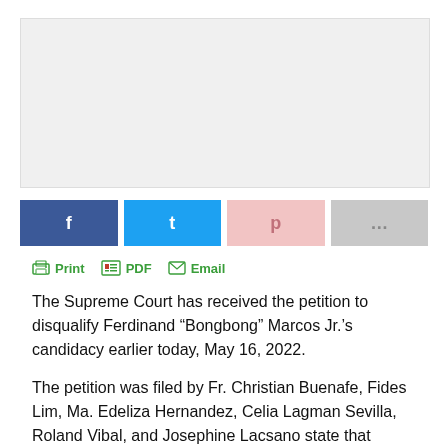[Figure (other): Gray advertisement placeholder block]
[Figure (infographic): Social share buttons row: Facebook (dark blue), Twitter (light blue), Pinterest (light pink), More (gray)]
Print   PDF   Email
The Supreme Court has received the petition to disqualify Ferdinand “Bongbong” Marcos Jr.’s candidacy earlier today, May 16, 2022.
The petition was filed by Fr. Christian Buenafe, Fides Lim, Ma. Edeliza Hernandez, Celia Lagman Sevilla, Roland Vibal, and Josephine Lacsano state that Marcos is ineligible to run for the highest position in the country and